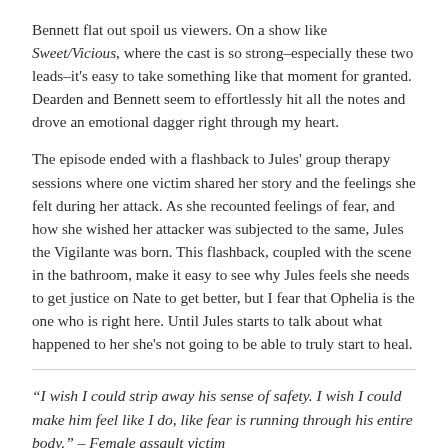Bennett flat out spoil us viewers. On a show like Sweet/Vicious, where the cast is so strong–especially these two leads–it's easy to take something like that moment for granted. Dearden and Bennett seem to effortlessly hit all the notes and drove an emotional dagger right through my heart.
The episode ended with a flashback to Jules' group therapy sessions where one victim shared her story and the feelings she felt during her attack. As she recounted feelings of fear, and how she wished her attacker was subjected to the same, Jules the Vigilante was born. This flashback, coupled with the scene in the bathroom, make it easy to see why Jules feels she needs to get justice on Nate to get better, but I fear that Ophelia is the one who is right here. Until Jules starts to talk about what happened to her she's not going to be able to truly start to heal.
“I wish I could strip away his sense of safety. I wish I could make him feel like I do, like fear is running through his entire body.” – Female assault victim